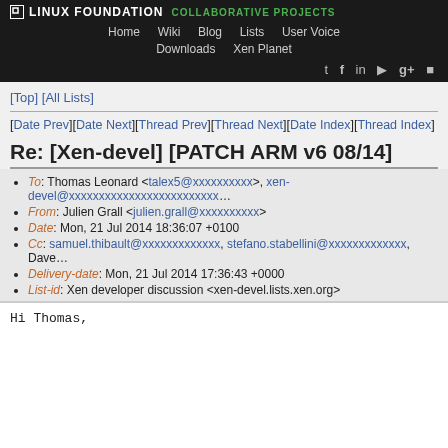LINUX FOUNDATION COLLABORATIVE PROJECTS | Home | Wiki | Blog | Lists | User Voice | Downloads | Xen Planet
[Top] [All Lists]
[Date Prev][Date Next][Thread Prev][Thread Next][Date Index][Thread Index]
Re: [Xen-devel] [PATCH ARM v6 08/14]
To: Thomas Leonard <talex5@xxxxxxxxxx>, xen-devel@xxxxxxxxxxxxxxxxxxxxxxxxx
From: Julien Grall <julien.grall@xxxxxxxxxx>
Date: Mon, 21 Jul 2014 18:36:07 +0100
Cc: samuel.thibault@xxxxxxxxxxxxx, stefano.stabellini@xxxxxxxxxxxxx, Dave
Delivery-date: Mon, 21 Jul 2014 17:36:43 +0000
List-id: Xen developer discussion <xen-devel.lists.xen.org>
Hi Thomas,